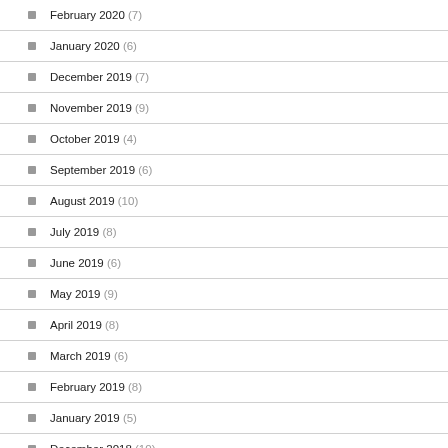February 2020 (7)
January 2020 (6)
December 2019 (7)
November 2019 (9)
October 2019 (4)
September 2019 (6)
August 2019 (10)
July 2019 (8)
June 2019 (6)
May 2019 (9)
April 2019 (8)
March 2019 (6)
February 2019 (8)
January 2019 (5)
December 2018 (10)